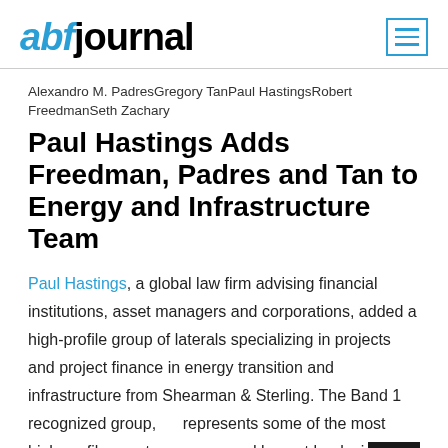abfjournal
Alexandro M. PadresGregory TanPaul HastingsRobert FreedmanSeth Zachary
Paul Hastings Adds Freedman, Padres and Tan to Energy and Infrastructure Team
Paul Hastings, a global law firm advising financial institutions, asset managers and corporations, added a high-profile group of laterals specializing in projects and project finance in energy transition and infrastructure from Shearman & Sterling. The Band 1 recognized group, which represents some of the most high-profile asset managers and largest banks in the world, includes three top-ranked